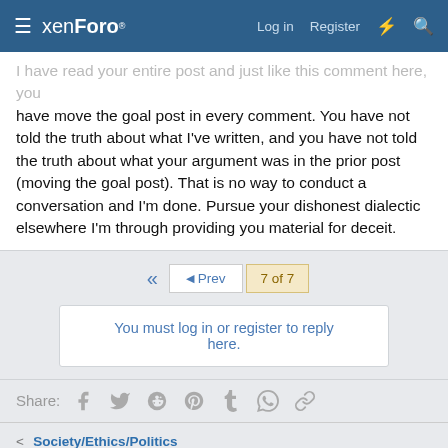xenForo | Log in | Register
I have read your entire post and just like this comment here, you have move the goal post in every comment. You have not told the truth about what I've written, and you have not told the truth about what your argument was in the prior post (moving the goal post). That is no way to conduct a conversation and I'm done. Pursue your dishonest dialectic elsewhere I'm through providing you material for deceit.
7 of 7 | Prev
You must log in or register to reply here.
Share:
Society/Ethics/Politics
Contact us  Terms and rules  Privacy policy  Help  Home  RSS
Community platform by XenForo® © 2010-2021 XenForo Ltd.